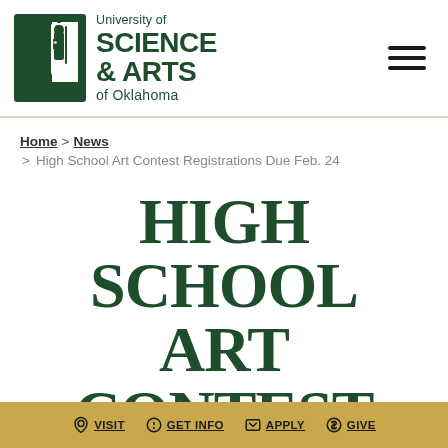[Figure (logo): University of Science & Arts of Oklahoma logo with shield/figure and text]
Home > News > High School Art Contest Registrations Due Feb. 24
HIGH SCHOOL ART CONTEST REGISTRATIONS
VISIT  GET INFO  APPLY  GIVE